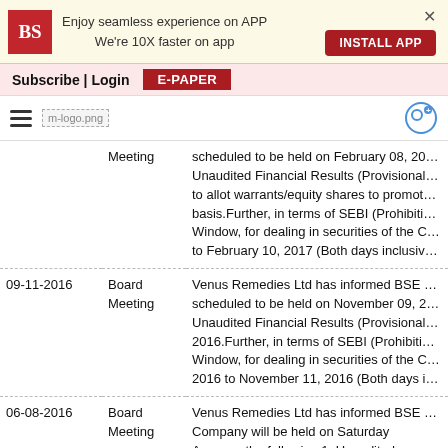Enjoy seamless experience on APP
We're 10X faster on app
INSTALL APP
Subscribe | Login   E-PAPER
[Figure (logo): Business Standard logo and navigation bar with hamburger menu and m-logo.png]
| Date | Type | Description |
| --- | --- | --- |
|  | Meeting | scheduled to be held on February 08, 2… Unaudited Financial Results (Provisional… to allot warrants/equity shares to promot… basis.Further, in terms of SEBI (Prohibiti… Window, for dealing in securities of the C… to February 10, 2017 (Both days inclusiv… |
| 09-11-2016 | Board Meeting | Venus Remedies Ltd has informed BSE … scheduled to be held on November 09, 2… Unaudited Financial Results (Provisional… 2016.Further, in terms of SEBI (Prohibiti… Window, for dealing in securities of the C… 2016 to November 11, 2016 (Both days i… |
| 06-08-2016 | Board Meeting | Venus Remedies Ltd has informed BSE … Company will be held on Saturday Augus… the following;1. Unaudited financial resul… 2016.2. To issue fully convertible warran… basis subject to approval in the general m… Meeting and book closure. |
| 24-06-2016 | Board | Venus Remedies Ltd has informed BSE … |